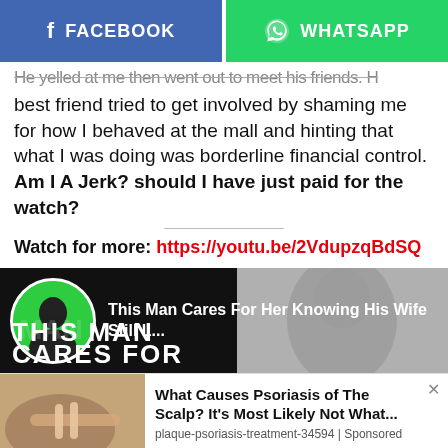[Figure (screenshot): Social share buttons: Facebook (blue) and WhatsApp (green)]
He yelled at me then went out to meet his friends. His best friend tried to get involved by shaming me for how I behaved at the mall and hinting that what I was doing was borderline financial control. Am I A Jerk? should I have just paid for the watch?
[Figure (screenshot): Video thumbnail: This Man Cares For Her Knowing His Wife Still L...]
Watch for more: https://youtu.be/2VdupzqBdSQ
[Figure (screenshot): Ad: What Causes Psoriasis of The Scalp? It's Most Likely Not What... — plaque-psoriasis-treatment-34594 | Sponsored]